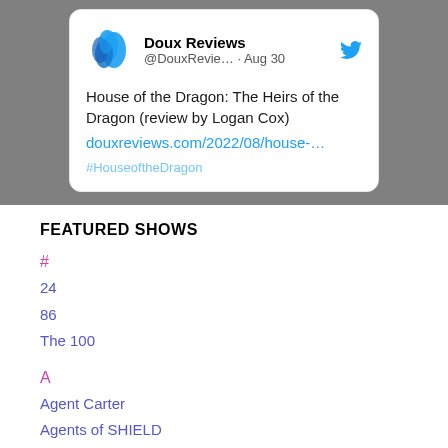[Figure (screenshot): Tweet card from Doux Reviews (@DouxRevie...) dated Aug 30, with text about House of the Dragon review by Logan Cox, link to douxreviews.com/2022/08/house-...]
FEATURED SHOWS
#
24
86
The 100
A
Agent Carter
Agents of SHIELD
Alias
Alphas
American Gods
Angel